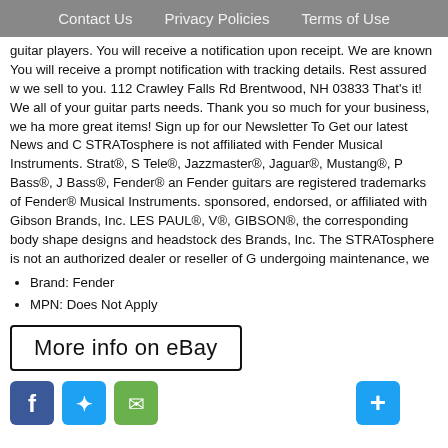Contact Us   Privacy Policies   Terms of Use
guitar players. You will receive a notification upon receipt. We are known You will receive a prompt notification with tracking details. Rest assured w we sell to you. 112 Crawley Falls Rd Brentwood, NH 03833 That's it! We all of your guitar parts needs. Thank you so much for your business, we ha more great items! Sign up for our Newsletter To Get our latest News and C STRATosphere is not affiliated with Fender Musical Instruments. Strat®, S Tele®, Jazzmaster®, Jaguar®, Mustang®, P Bass®, J Bass®, Fender® an Fender guitars are registered trademarks of Fender® Musical Instruments. sponsored, endorsed, or affiliated with Gibson Brands, Inc. LES PAUL®, V®, GIBSON®, the corresponding body shape designs and headstock des Brands, Inc. The STRATosphere is not an authorized dealer or reseller of G undergoing maintenance, we apologise for any inconvenience caused. The Strat LOADED PICKGUARD Stratocaster Prewired Mint" is in sale since the category "Musical Instruments & Gear\Guitars & Basses\Parts & Acce is "thestratosphere" and is located in New Hampshire. This item can be sh
Brand: Fender
MPN: Does Not Apply
[Figure (other): More info on eBay button with border]
[Figure (other): Social media icons: Facebook, Twitter, Email, and a blue plus/share icon]